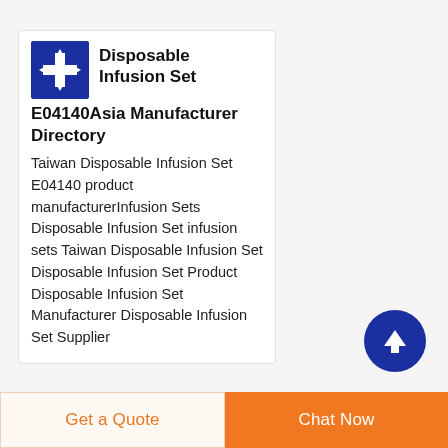[Figure (logo): Blue square logo with a white medical/infusion cross/plus symbol with arrows]
Disposable Infusion Set E04140Asia Manufacturer Directory
Taiwan Disposable Infusion Set E04140 product manufacturerInfusion Sets Disposable Infusion Set infusion sets Taiwan Disposable Infusion Set Disposable Infusion Set Product Disposable Infusion Set Manufacturer Disposable Infusion Set Supplier
[Figure (illustration): Dark blue circular scroll-to-top button with upward arrow]
Get a Quote
Chat Now